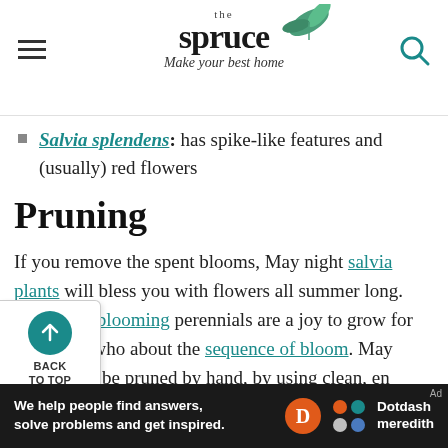the spruce — Make your best home
Salvia splendens: has spike-like features and (usually) red flowers
Pruning
If you remove the spent blooms, May night salvia plants will bless you with flowers all summer long. Such long-blooming perennials are a joy to grow for gardeners who about the sequence of bloom. May night a can be pruned by hand, by using clean, en shears, or can be trimmed down using a string trimmer...
[Figure (logo): The Spruce logo with leaf illustration and tagline 'Make your best home']
[Figure (infographic): Dotdash Meredith advertisement banner with text 'We help people find answers, solve problems and get inspired.']